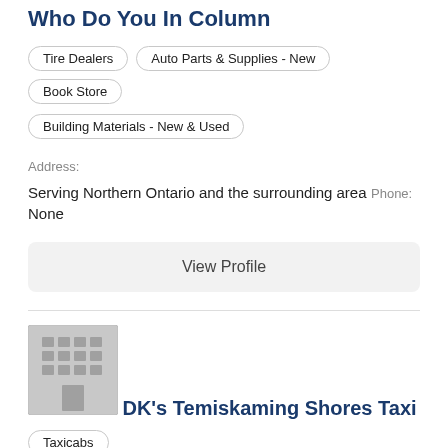Who Do You In Column
Tire Dealers
Auto Parts & Supplies - New
Book Store
Building Materials - New & Used
Address:
Serving Northern Ontario and the surrounding area
Phone:
None
View Profile
[Figure (illustration): Generic building/business placeholder image with grid of windows]
DK's Temiskaming Shores Taxi
Taxicabs
Address:
Serving Northern Ontario and the surrounding area